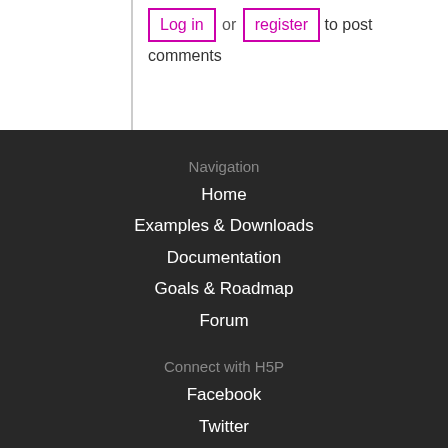Log in or register to post comments
Navigation
Home
Examples & Downloads
Documentation
Goals & Roadmap
Forum
Connect with H5P
Facebook
Twitter
GitHub